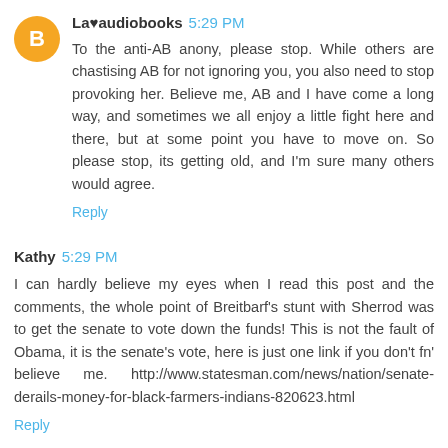La♥audiobooks 5:29 PM
To the anti-AB anony, please stop. While others are chastising AB for not ignoring you, you also need to stop provoking her. Believe me, AB and I have come a long way, and sometimes we all enjoy a little fight here and there, but at some point you have to move on. So please stop, its getting old, and I'm sure many others would agree.
Reply
Kathy 5:29 PM
I can hardly believe my eyes when I read this post and the comments, the whole point of Breitbarf's stunt with Sherrod was to get the senate to vote down the funds! This is not the fault of Obama, it is the senate's vote, here is just one link if you don't fn' believe me. http://www.statesman.com/news/nation/senate-derails-money-for-black-farmers-indians-820623.html
Reply